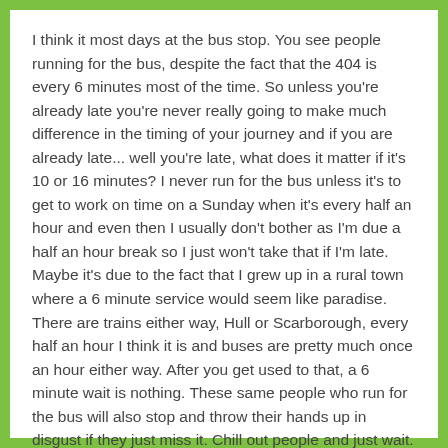I think it most days at the bus stop. You see people running for the bus, despite the fact that the 404 is every 6 minutes most of the time. So unless you're already late you're never really going to make much difference in the timing of your journey and if you are already late... well you're late, what does it matter if it's 10 or 16 minutes? I never run for the bus unless it's to get to work on time on a Sunday when it's every half an hour and even then I usually don't bother as I'm due a half an hour break so I just won't take that if I'm late. Maybe it's due to the fact that I grew up in a rural town where a 6 minute service would seem like paradise. There are trains either way, Hull or Scarborough, every half an hour I think it is and buses are pretty much once an hour either way. After you get used to that, a 6 minute wait is nothing. These same people who run for the bus will also stop and throw their hands up in disgust if they just miss it. Chill out people and just wait.